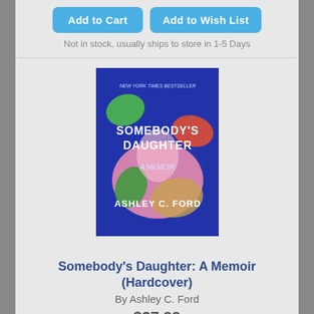[Figure (screenshot): Two blue 'Add to Cart' and 'Add to Wish List' buttons at top of page (partial, previous item)]
Not in stock, usually ships to store in 1-5 Days
[Figure (photo): Book cover of 'Somebody's Daughter: A Memoir' by Ashley C. Ford — blue background with colorful abstract swirling shapes]
Somebody's Daughter: A Memoir (Hardcover)
By Ashley C. Ford
$27.99
[Figure (screenshot): Two blue-gray 'Add to Cart' and 'Add to Wish List' buttons]
Not in stock, usually ships to store in 1-5 Days
[Figure (photo): Partial book cover showing 'BREAKING FREE OF CHIL...' with teal background and colorful text (bottom of page, cut off)]